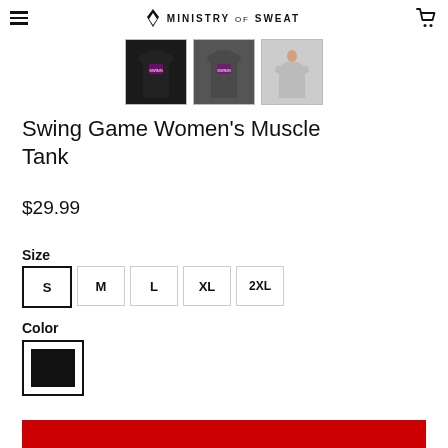Ministry of Sweat
[Figure (photo): Three product thumbnail images of the Swing Game Women's Muscle Tank in black, dark charcoal, and light gray colorways]
Swing Game Women's Muscle Tank
$29.99
Size
S   M   L   XL   2XL
Color
[Figure (other): Black color swatch selected, shown in a bordered square]